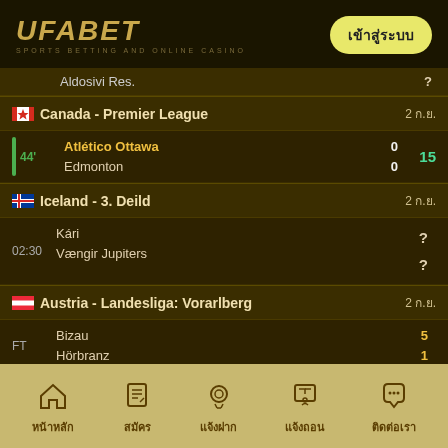[Figure (logo): UFABET sports betting and online casino logo]
เข้าสู่ระบบ
Aldosivi Res.  ?
Canada - Premier League  2 ก.ย.
44'  Atlético Ottawa  0  15
     Edmonton  0
Iceland - 3. Deild  2 ก.ย.
02:30  Kári  ?
       Vængir Jupiters  ?
Austria - Landesliga: Vorarlberg  2 ก.ย.
FT  Bizau  5
    Hörbranz  1
หน้าหลัก  สมัคร  แจ้งฝาก  แจ้งถอน  ติดต่อเรา